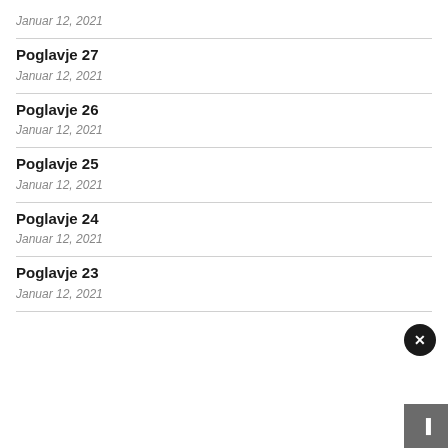Januar 12, 2021
Poglavje 27
Januar 12, 2021
Poglavje 26
Januar 12, 2021
Poglavje 25
Januar 12, 2021
Poglavje 24
Januar 12, 2021
Poglavje 23
Januar 12, 2021